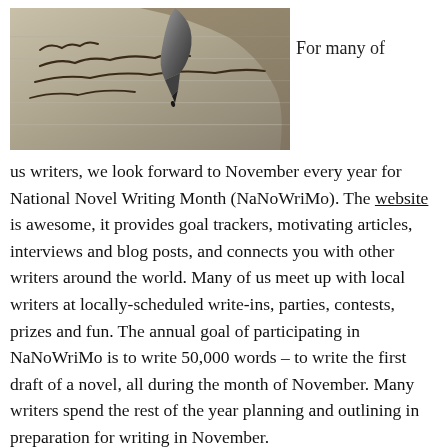[Figure (photo): Close-up photo of a fountain pen nib writing cursive handwriting on lined paper]
For many of us writers, we look forward to November every year for National Novel Writing Month (NaNoWriMo). The website is awesome, it provides goal trackers, motivating articles, interviews and blog posts, and connects you with other writers around the world. Many of us meet up with local writers at locally-scheduled write-ins, parties, contests, prizes and fun. The annual goal of participating in NaNoWriMo is to write 50,000 words – to write the first draft of a novel, all during the month of November. Many writers spend the rest of the year planning and outlining in preparation for writing in November.